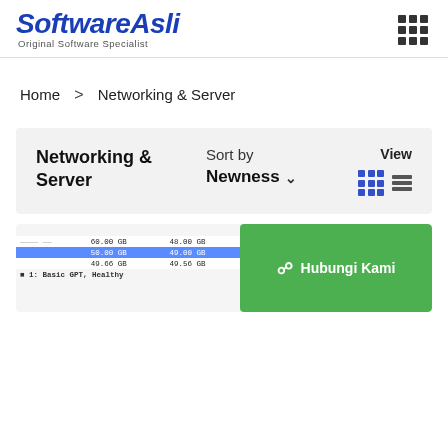[Figure (logo): SoftwareAsli logo with tagline 'Original Software Specialist' in blue italic bold font]
Home  >  Networking & Server
Networking & Server
Sort by
Newness
View
[Figure (screenshot): Disk management screenshot showing table with disk partitions (60.00 GB / 48.00 GB / NTFS, 50.00 GB / 49.00 GB / NTFS highlighted blue, 49.66 GB / 49.56 GB / NTFS Logical Healthy) and green Hubungi Kami WhatsApp button]